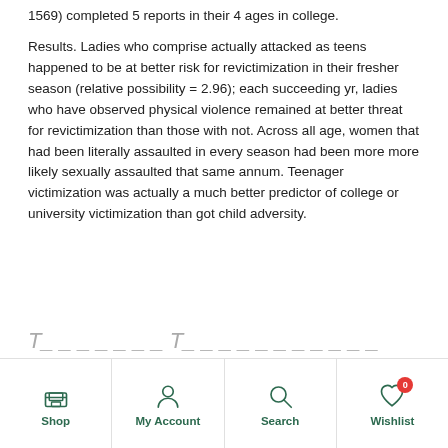1569) completed 5 reports in their 4 ages in college.
Results. Ladies who comprise actually attacked as teens happened to be at better risk for revictimization in their fresher season (relative possibility = 2.96); each succeeding yr, ladies who have observed physical violence remained at better threat for revictimization than those with not. Across all age, women that had been literally assaulted in every season had been more more likely sexually assaulted that same annum. Teenager victimization was actually a much better predictor of college or university victimization than got child adversity.
Shop | My Account | Search | Wishlist (0)